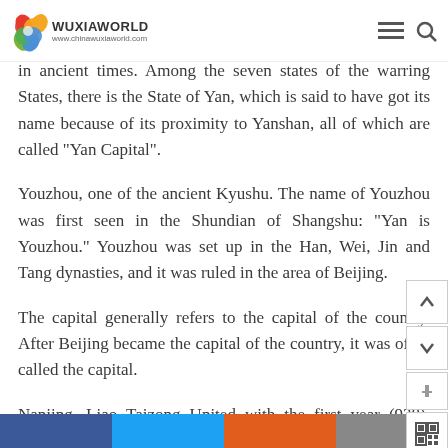WUXIAWORLD www.chinawuxiaworld.com
in ancient times. Among the seven states of the warring States, there is the State of Yan, which is said to have got its name because of its proximity to Yanshan, all of which are called “Yan Capital”.
Youzhou, one of the ancient Kyushu. The name of Youzhou was first seen in the Shundian of Shangshu: “Yan is Youzhou.” Youzhou was set up in the Han, Wei, Jin and Tang dynasties, and it was ruled in the area of Beijing.
The capital generally refers to the capital of the country. After Beijing became the capital of the country, it was often called the capital.
Nanjing, Liao Taizong United with the first year (938), ungraded the original Youzhou to you capital, built Nanjing.